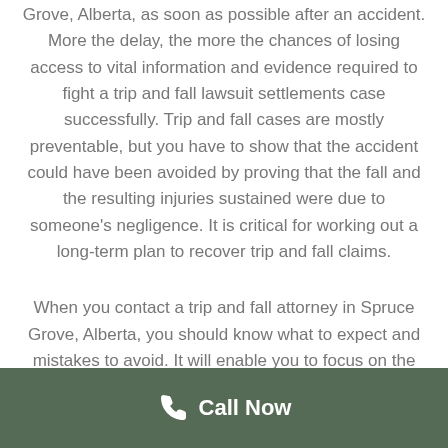Grove, Alberta, as soon as possible after an accident. More the delay, the more the chances of losing access to vital information and evidence required to fight a trip and fall lawsuit settlements case successfully. Trip and fall cases are mostly preventable, but you have to show that the accident could have been avoided by proving that the fall and the resulting injuries sustained were due to someone's negligence. It is critical for working out a long-term plan to recover trip and fall claims.
When you contact a trip and fall attorney in Spruce Grove, Alberta, you should know what to expect and mistakes to avoid. It will enable you to focus on the merits of the case and walk away with the best possible trip and fall lawsuit settlements. The money
Call Now